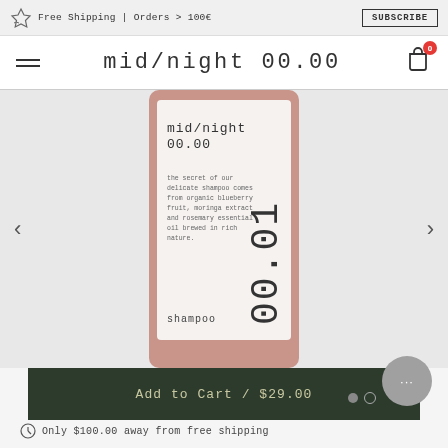Free Shipping | Orders > 100€   SUBSCRIBE
mid/night 00.00
[Figure (photo): A pink/rose shampoo bottle with white label showing mid/night 00.00 branding, product description text about organic blueberry fruit moringa extract and rosemary essential oil, and 00.01 text rotated vertically, with 'shampoo' at the bottom of the label]
Add to Cart / $29.00
Only $100.00 away from free shipping